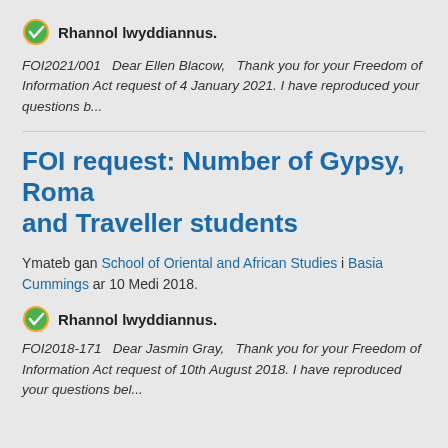Rhannol lwyddiannus.
FOI2021/001   Dear Ellen Blacow,   Thank you for your Freedom of Information Act request of 4 January 2021. I have reproduced your questions b...
FOI request: Number of Gypsy, Roma and Traveller students
Ymateb gan School of Oriental and African Studies i Basia Cummings ar 10 Medi 2018.
Rhannol lwyddiannus.
FOI2018-171   Dear Jasmin Gray,   Thank you for your Freedom of Information Act request of 10th August 2018. I have reproduced your questions bel...